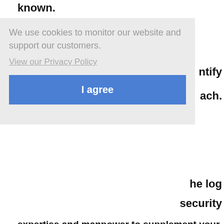known.
[Figure (infographic): Cookie consent banner overlay with message 'We use cookies to monitor our website and support our customers.' and a 'View our Privacy Policy' link and 'I agree' blue button.]
expertise and manpower to supplement your existing IT operations, along with your organization's security posture.
A Clear Path Forward
[Figure (illustration): Orange circle with a dark blue upward-pointing triangle and a dark blue horizontal bar beneath it, acting as a scroll-to-top button.]
Your business doesn't have to become the next data breach statistic. Building a defense begins with understanding